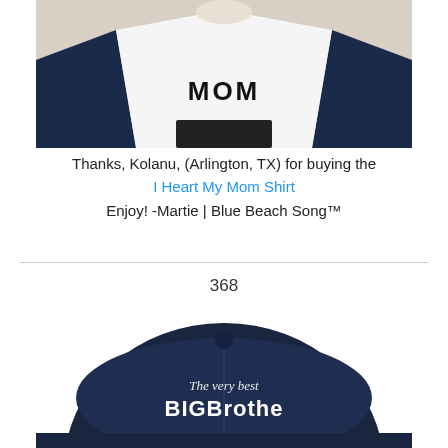[Figure (photo): Photo of a person wearing a white and navy blue baseball raglan shirt, cropped to show torso. The shirt has text on the front (partially visible: 'MOM'). Navy blue 3/4 sleeves, white body.]
Thanks, Kolanu, (Arlington, TX) for buying the
I Heart My Mom Shirt
Enjoy! -Martie | Blue Beach Song™
368
[Figure (photo): Photo of a navy blue baseball cap viewed from behind/above, with white embroidered text reading 'The very best BIG Brother' (text partially cropped at bottom).]